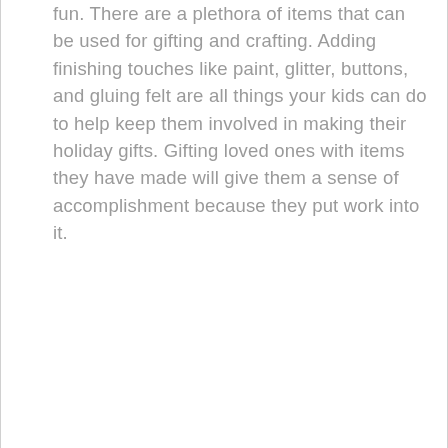fun. There are a plethora of items that can be used for gifting and crafting. Adding finishing touches like paint, glitter, buttons, and gluing felt are all things your kids can do to help keep them involved in making their holiday gifts. Gifting loved ones with items they have made will give them a sense of accomplishment because they put work into it.